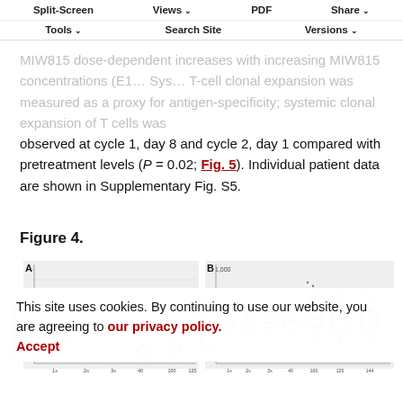Split-Screen | Views | PDF | Share | Tools | Search Site | Versions
MIW815 dose-dependent increases with increasing MIW815 concentrations (E1… Sys… T-cell clonal expansion was measured as a proxy for antigen-specificity; systemic clonal expansion of T cells was observed at cycle 1, day 8 and cycle 2, day 1 compared with pretreatment levels (P = 0.02; Fig. 5). Individual patient data are shown in Supplementary Fig. S5.
Figure 4.
[Figure (other): Two box-and-whisker plots labeled A and B showing change in IFNg (pg/mL) and change in IL1b-1b (pg/mL) across dose groups]
This site uses cookies. By continuing to use our website, you are agreeing to our privacy policy. Accept